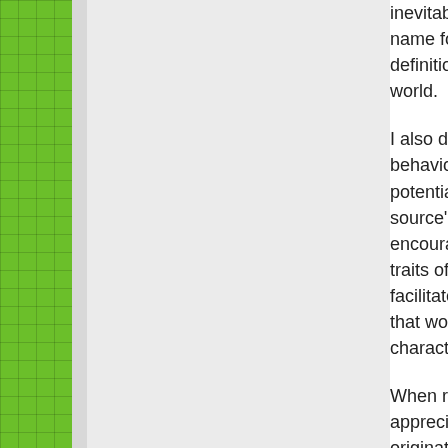[Figure (other): Green grid-pattern sidebar on the left edge of the page, with a narrow gray strip beside it and a lighter gray background area]
inevitably erode the very q... name for this law, but it hap... definition of open source, w... world.

I also don't know of a name for su... behavioural phenomena previous... potential job offer, demonstrate ge... source" as a pragmatic way of wr... encouraging some kind of individ... traits of what Python has become... facilitate chaotic, haphazard, antis... that work, it is the social and econ... characteristics.

When reflecting on the past, parti... appreciate the values that might h... originated at a time when comput... higher-level language, one that c... languages whilst building on top o... having been invested in such fou... foundations might be enduring an...

An interesting example of such at... set architecture. Digital, having re... philosophy and eventually deliver... up, emphasising performance and... foresee the requirements of future... arguably due to Microsoft's increa...